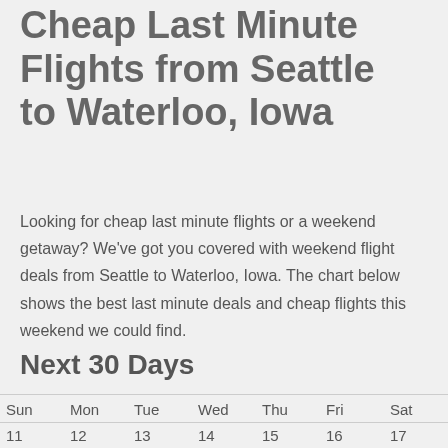Cheap Last Minute Flights from Seattle to Waterloo, Iowa
Looking for cheap last minute flights or a weekend getaway? We've got you covered with weekend flight deals from Seattle to Waterloo, Iowa. The chart below shows the best last minute deals and cheap flights this weekend we could find.
Next 30 Days
| Sun | Mon | Tue | Wed | Thu | Fri | Sat |
| --- | --- | --- | --- | --- | --- | --- |
| 11 | 12 | 13 | 14 | 15 | 16 | 17 |